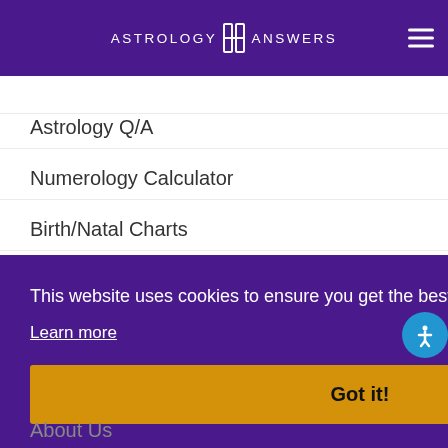ASTROLOGY ANSWERS
[partial nav item - truncated]
Astrology Q/A
Numerology Calculator
Birth/Natal Charts
ARTICLES
Astrology
This website uses cookies to ensure you get the best experience on our website. Learn more
Got it!
About Us